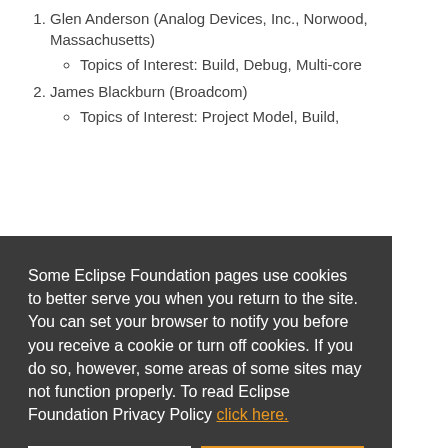1. Glen Anderson (Analog Devices, Inc., Norwood, Massachusetts)
Topics of Interest: Build, Debug, Multi-core
2. James Blackburn (Broadcom)
Topics of Interest: Project Model, Build,
Some Eclipse Foundation pages use cookies to better serve you when you return to the site. You can set your browser to notify you before you receive a cookie or turn off cookies. If you do so, however, some areas of some sites may not function properly. To read Eclipse Foundation Privacy Policy click here.
8. Matthew Khouzam (Ericsson,